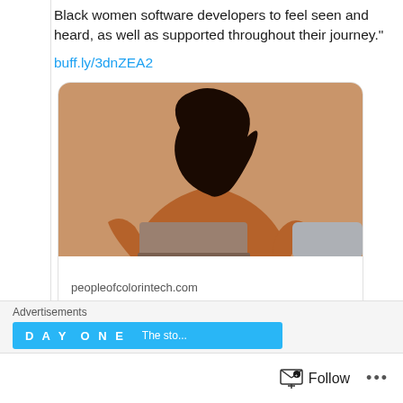Black women software developers to feel seen and heard, as well as supported throughout their journey."
buff.ly/3dnZEA2
[Figure (photo): A Black woman wearing a brown turtleneck sweater, sitting and working on a laptop computer, photographed against a beige background.]
peopleofcolorintech.com
Valuable Resources for Black Women Coders in Tech
Advertisements
DAY ONE
Follow ...